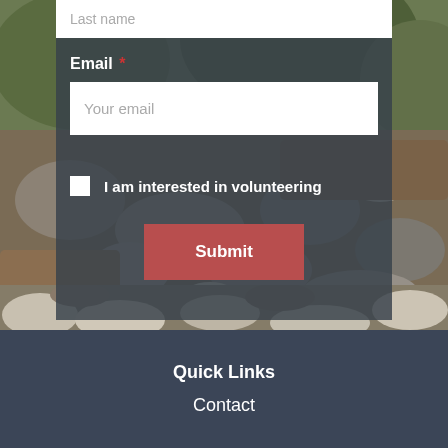[Figure (photo): Outdoor garden background with rocks, stones, and green foliage visible behind a dark semi-transparent form overlay]
Last name
Email *
Your email
I am interested in volunteering
Submit
Quick Links
Contact